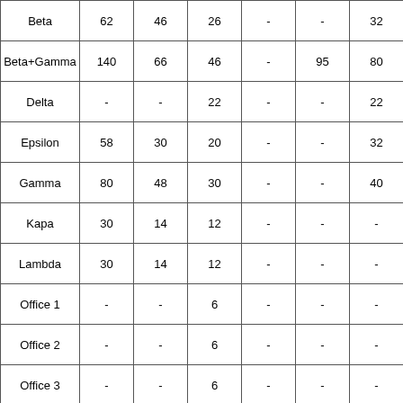|  |  |  |  |  |  |  |
| --- | --- | --- | --- | --- | --- | --- |
| Beta | 62 | 46 | 26 | - | - | 32 |
| Beta+Gamma | 140 | 66 | 46 | - | 95 | 80 |
| Delta | - | - | 22 | - | - | 22 |
| Epsilon | 58 | 30 | 20 | - | - | 32 |
| Gamma | 80 | 48 | 30 | - | - | 40 |
| Kapa | 30 | 14 | 12 | - | - | - |
| Lambda | 30 | 14 | 12 | - | - | - |
| Office 1 | - | - | 6 | - | - | - |
| Office 2 | - | - | 6 | - | - | - |
| Office 3 | - | - | 6 | - | - | - |